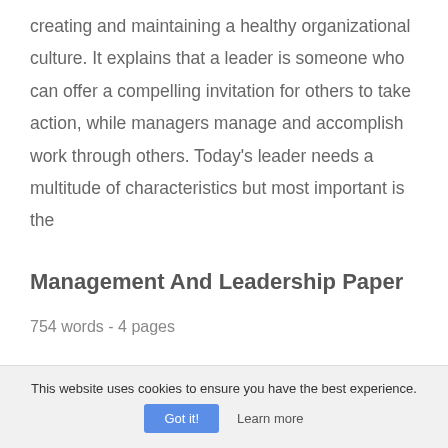creating and maintaining a healthy organizational culture. It explains that a leader is someone who can offer a compelling invitation for others to take action, while managers manage and accomplish work through others. Today's leader needs a multitude of characteristics but most important is the
Management And Leadership Paper
754 words - 4 pages
problems at other times.)2. Look up in the left corner
This website uses cookies to ensure you have the best experience.